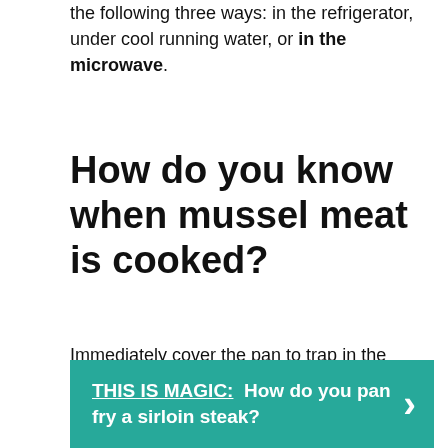the following three ways: in the refrigerator, under cool running water, or in the microwave.
How do you know when mussel meat is cooked?
Immediately cover the pan to trap in the steam and let your mussels cook while gently shaking the pan. Peek in there and give them a stir every 30 seconds or so. After about one minute, they should begin to open, and after around two, they should be pretty much done.
THIS IS MAGIC: How do you pan fry a sirloin steak?